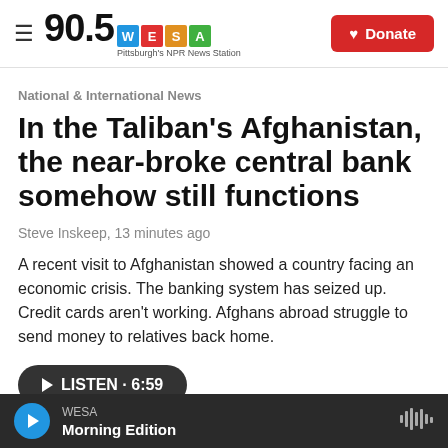90.5 WESA — Pittsburgh's NPR News Station
National & International News
In the Taliban's Afghanistan, the near-broke central bank somehow still functions
Steve Inskeep,  13 minutes ago
A recent visit to Afghanistan showed a country facing an economic crisis. The banking system has seized up. Credit cards aren't working. Afghans abroad struggle to send money to relatives back home.
WESA — Morning Edition